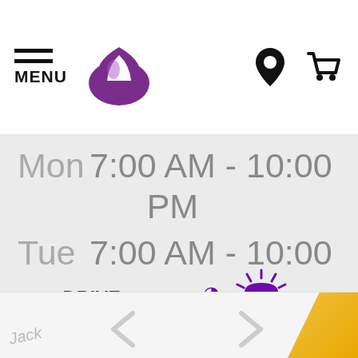[Figure (screenshot): Taco Bell website header with hamburger menu icon labeled MENU, Taco Bell logo (purple bell), location pin icon, and shopping cart icon]
Mon  7:00 AM - 10:00 PM
Tue  7:00 AM - 10:00 PM
[Figure (logo): DRIVE THRU text badge in purple, OPEN badge with moon icon in purple oval, BREAKFAST badge with sun rays in purple]
[Figure (screenshot): Bottom strip with partial text 'Jack' and chevron arrows and gold corner element]